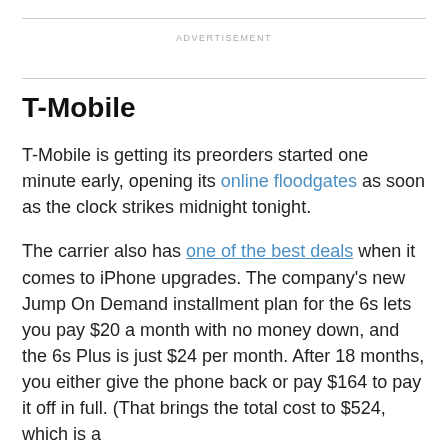ADVERTISEMENT
T-Mobile
T-Mobile is getting its preorders started one minute early, opening its online floodgates as soon as the clock strikes midnight tonight.
The carrier also has one of the best deals when it comes to iPhone upgrades. The company's new Jump On Demand installment plan for the 6s lets you pay $20 a month with no money down, and the 6s Plus is just $24 per month. After 18 months, you either give the phone back or pay $164 to pay it off in full. (That brings the total cost to $524, which is a